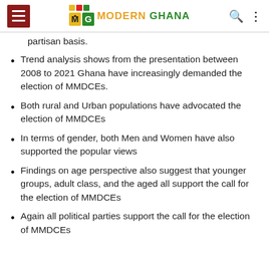Modern Ghana
partisan basis.
Trend analysis shows from the presentation between 2008 to 2021 Ghana have increasingly demanded the election of MMDCEs.
Both rural and Urban populations have advocated the election of MMDCEs
In terms of gender, both Men and Women have also supported the popular views
Findings on age perspective also suggest that younger groups, adult class, and the aged all support the call for the election of MMDCEs
Again all political parties support the call for the election of MMDCEs